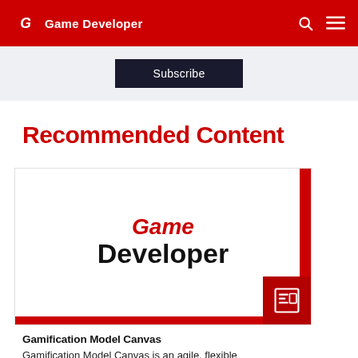Game Developer
Subscribe
Recommended Content
[Figure (logo): Game Developer logo card with red right and bottom borders and a newspaper icon in the corner]
Gamification Model Canvas
Gamification Model Canvas is an agile, flexible